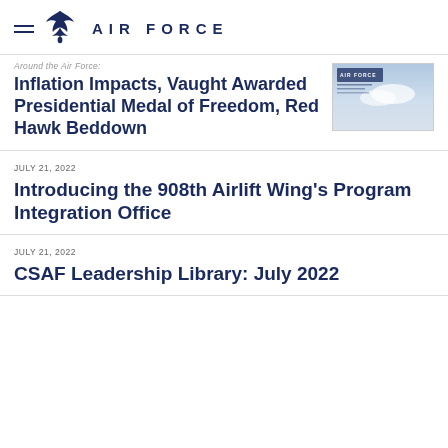AIR FORCE
Around the Air Force: Inflation Impacts, Vaught Awarded Presidential Medal of Freedom, Red Hawk Beddown
[Figure (photo): Air Force magazine cover thumbnail showing aircraft and clouds]
JULY 21, 2022
Introducing the 908th Airlift Wing’s Program Integration Office
JULY 21, 2022
CSAF Leadership Library: July 2022